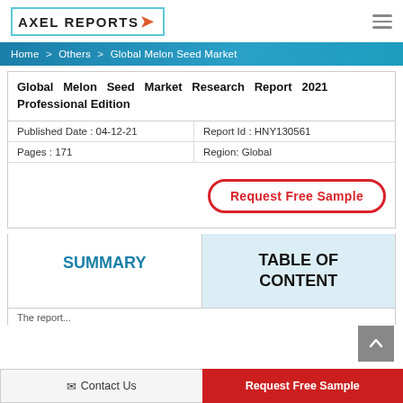AXEL REPORTS
Home > Others > Global Melon Seed Market
Global Melon Seed Market Research Report 2021 Professional Edition
| Published Date : 04-12-21 | Report Id : HNY130561 |
| Pages : 171 | Region: Global |
Request Free Sample
SUMMARY
TABLE OF CONTENT
The report...
Contact Us   Request Free Sample